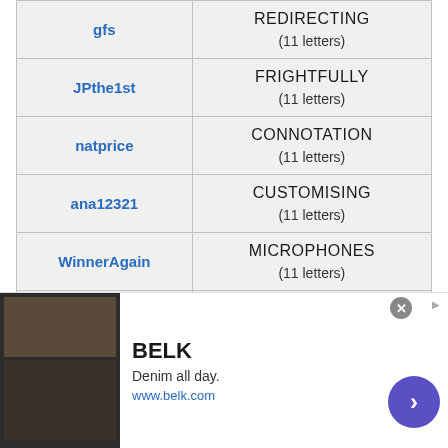| Username | Answer |
| --- | --- |
| gfs | REDIRECTING
(11 letters) |
| JPthe1st | FRIGHTFULLY
(11 letters) |
| natprice | CONNOTATION
(11 letters) |
| ana12321 | CUSTOMISING
(11 letters) |
| WinnerAgain | MICROPHONES
(11 letters) |
| MrsOut | CHURCHGOERS
(11 letters) |
[Figure (other): Advertisement banner for BELK clothing brand. Shows 'Denim all day.' tagline and www.belk.com URL with clothing imagery.]